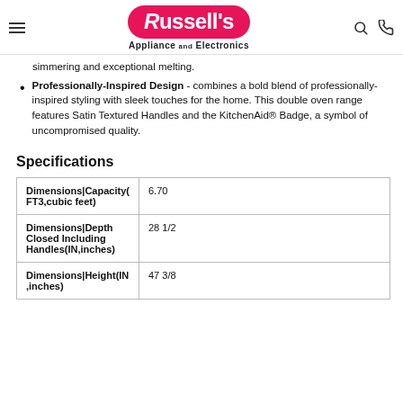Russell's Appliance and Electronics
simmering and exceptional melting.
Professionally-Inspired Design - combines a bold blend of professionally-inspired styling with sleek touches for the home. This double oven range features Satin Textured Handles and the KitchenAid® Badge, a symbol of uncompromised quality.
Specifications
| Specification | Value |
| --- | --- |
| Dimensions|Capacity(FT3,cubic feet) | 6.70 |
| Dimensions|Depth Closed Including Handles(IN,inches) | 28 1/2 |
| Dimensions|Height(IN,inches) | 47 3/8 |